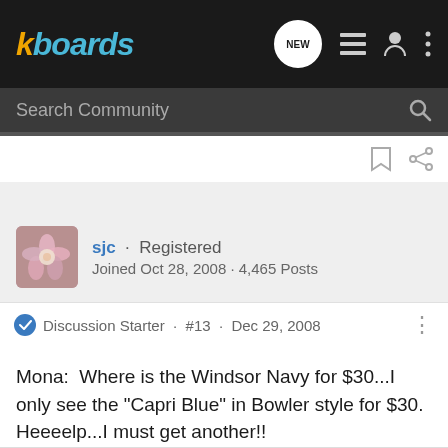kboards
Search Community
sjc · Registered
Joined Oct 28, 2008 · 4,465 Posts
Discussion Starter · #13 · Dec 29, 2008
Mona:  Where is the Windsor Navy for $30...I only see the "Capri Blue" in Bowler style for $30.  Heeeelp...I must get another!!